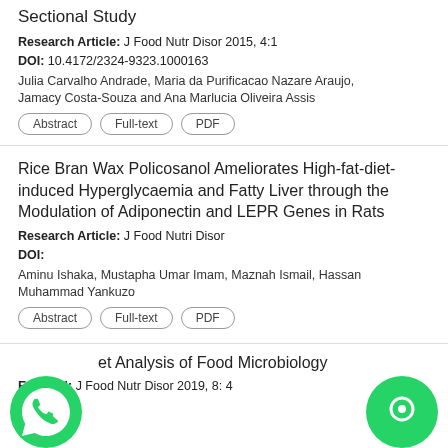Sectional Study
Research Article: J Food Nutr Disor 2015, 4:1
DOI: 10.4172/2324-9323.1000163
Julia Carvalho Andrade, Maria da Purificacao Nazare Araujo, Jamacy Costa-Souza and Ana Marlucia Oliveira Assis
Abstract | Full-text | PDF
Rice Bran Wax Policosanol Ameliorates High-fat-diet-induced Hyperglycaemia and Fatty Liver through the Modulation of Adiponectin and LEPR Genes in Rats
Research Article: J Food Nutri Disor
DOI:
Aminu Ishaka, Mustapha Umar Imam, Maznah Ismail, Hassan Muhammad Yankuzo
Abstract | Full-text | PDF
et Analysis of Food Microbiology
Editorial: J Food Nutr Disor 2019, 8: 4
DOI: